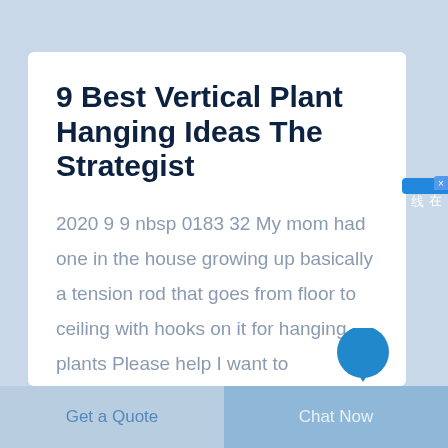9 Best Vertical Plant Hanging Ideas The Strategist
2020 9 9 nbsp 0183 32 My mom had one in the house growing up basically a tension rod that goes from floor to ceiling with hooks on it for hanging plants Please help I want to
[Figure (other): Blue circular chat bubble icon at bottom right of card]
[Figure (other): Blue side widget with Chinese characters 在线咨询 (online consultation) and X close button]
Get a Quote
Chat Now